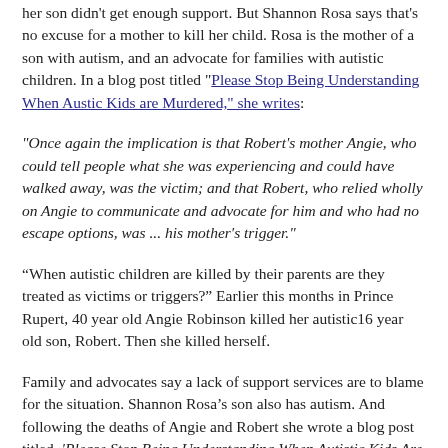her son didn't get enough support. But Shannon Rosa says that's no excuse for a mother to kill her child. Rosa is the mother of a son with autism, and an advocate for families with autistic children. In a blog post titled "Please Stop Being Understanding When Austic Kids are Murdered," she writes:
"Once again the implication is that Robert's mother Angie, who could tell people what she was experiencing and could have walked away, was the victim; and that Robert, who relied wholly on Angie to communicate and advocate for him and who had no escape options, was ... his mother's trigger."
“When autistic children are killed by their parents are they treated as victims or triggers?” Earlier this months in Prince Rupert, 40 year old Angie Robinson killed her autistic16 year old son, Robert. Then she killed herself.
Family and advocates say a lack of support services are to blame for the situation. Shannon Rosa’s son also has autism. And following the deaths of Angie and Robert she wrote a blog post titled, 'Please Stop Being Understanding When Autistic Kids Are Murdered.' She also wrote about the San Francisco Bay...